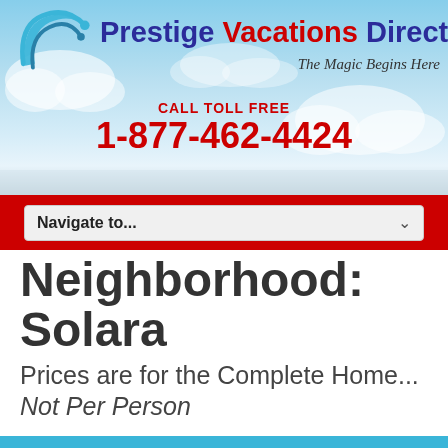[Figure (logo): Prestige Vacations Direct logo with swish icon, tagline 'The Magic Begins Here']
CALL TOLL FREE
1-877-462-4424
Navigate to...
Neighborhood: Solara
Prices are for the Complete Home... Not Per Person